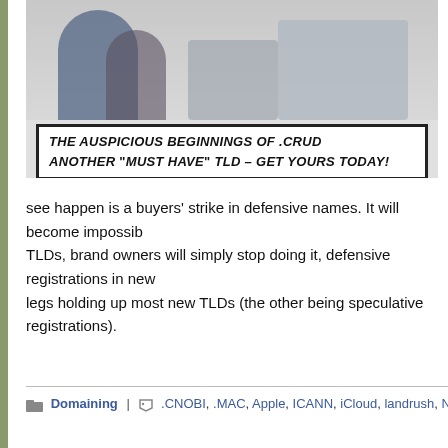[Figure (illustration): Comic panel showing people with a caption box reading: THE AUSPICIOUS BEGINNINGS OF .CRUD ANOTHER "MUST HAVE" TLD – GET YOURS TODAY!]
see happen is a buyers' strike in defensive names. It will become impossib… TLDs, brand owners will simply stop doing it, defensive registrations in new… legs holding up most new TLDs (the other being speculative registrations).
Domaining | .CNOBI, .MAC, Apple, ICANN, iCloud, landrush, New TLDs,